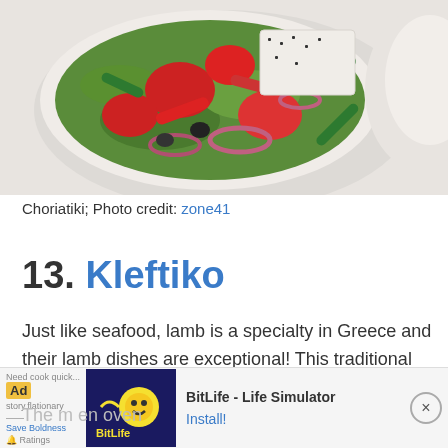[Figure (photo): A white bowl of Greek Choriatiki salad with tomatoes, feta cheese, red onions, green peppers, olives, and greens, viewed from above on a white surface.]
Choriatiki; Photo credit: zone41
13. Kleftiko
Just like seafood, lamb is a specialty in Greece and their lamb dishes are exceptional! This traditional Greek dish is slow oven cooked lamb infused with olive oil, lemon juice, and garlic.
The m... en oven...